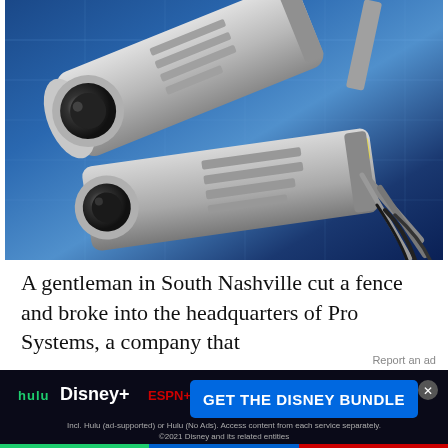[Figure (photo): Close-up photo of two security surveillance cameras mounted on a wall bracket against a blurred blue building background]
A gentleman in South Nashville cut a fence and broke into the headquarters of Pro Systems, a company that
[Figure (other): Disney Bundle advertisement banner featuring Hulu, Disney+, and ESPN+ logos with 'GET THE DISNEY BUNDLE' call-to-action button]